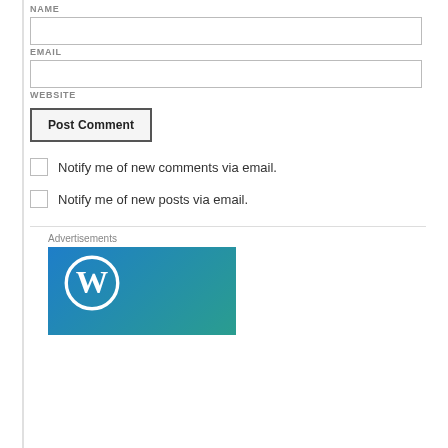NAME
EMAIL
WEBSITE
Post Comment
Notify me of new comments via email.
Notify me of new posts via email.
Advertisements
[Figure (logo): WordPress logo on blue-teal gradient background]